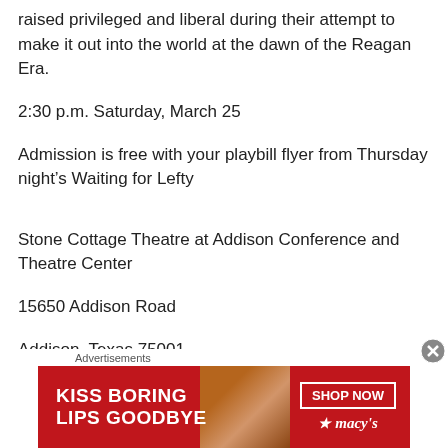raised privileged and liberal during their attempt to make it out into the world at the dawn of the Reagan Era.
2:30 p.m. Saturday, March 25
Admission is free with your playbill flyer from Thursday night’s Waiting for Lefty
Stone Cottage Theatre at Addison Conference and Theatre Center
15650 Addison Road
Addison, Texas 75001
[Figure (infographic): Advertisement banner for Macy's: 'KISS BORING LIPS GOODBYE' with SHOP NOW button and Macy's star logo on red background]